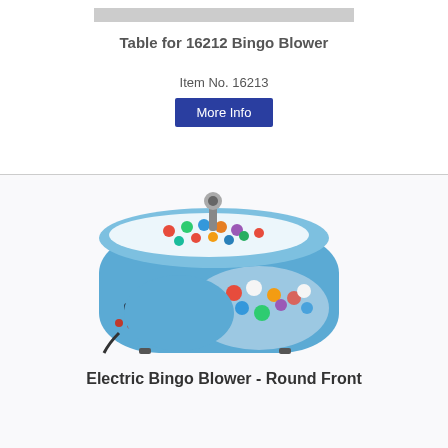[Figure (photo): Top portion of a table/stand product image, partially visible as a gray bar]
Table for 16212 Bingo Blower
Item No. 16213
More Info
[Figure (photo): Electric Bingo Blower with round front design, blue casing, transparent top showing colorful bingo balls, and a ball feed mechanism on top]
Electric Bingo Blower - Round Front